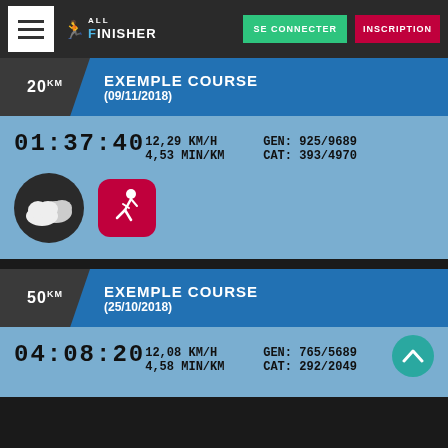SE CONNECTER | INSCRIPTION
EXEMPLE COURSE (09/11/2018) 20km
01:37:40  12,29 KM/H  4,53 MIN/KM  GEN: 925/9689  CAT: 393/4970
[Figure (illustration): Weather icon (clouds) and running app icon]
EXEMPLE COURSE (25/10/2018) 50km
04:08:20  12,08 KM/H  4,58 MIN/KM  GEN: 765/5689  CAT: 292/2049